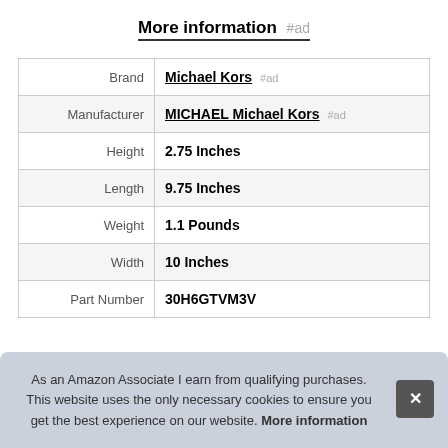More information #ad
| Brand | Michael Kors #ad |
| Manufacturer | MICHAEL Michael Kors #ad |
| Height | 2.75 Inches |
| Length | 9.75 Inches |
| Weight | 1.1 Pounds |
| Width | 10 Inches |
| Part Number | 30H6GTVM3V |
As an Amazon Associate I earn from qualifying purchases. This website uses the only necessary cookies to ensure you get the best experience on our website. More information